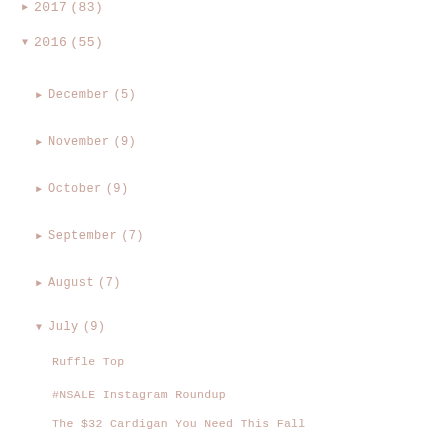▶ 2017 (83)
▼ 2016 (55)
► December (5)
► November (9)
► October (9)
► September (7)
► August (7)
▼ July (9)
Ruffle Top
#NSALE Instagram Roundup
The $32 Cardigan You Need This Fall
Nordstrom Anniversary Sale: 9 Beauty Must-Haves
Nordstrom Anniversary Sale Guide